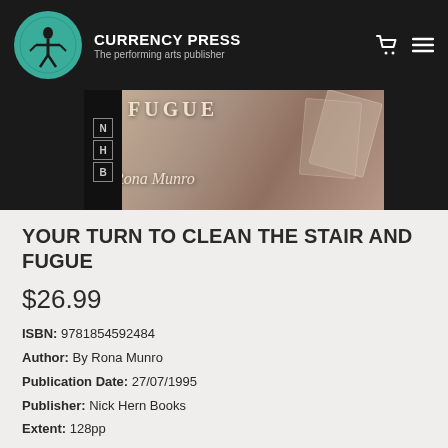[Figure (logo): Currency Press logo and header: teal circular logo with figure, white bold text 'CURRENCY PRESS', grey tagline 'The performing arts publisher', cart and menu icons on right, all on dark background]
[Figure (photo): Book cover image showing 'Your Turn to Clean the Stair and Fugue' by Rona Munro, NHB publisher logo on left spine, cursive author name and title text on sepia-toned background with playing cards]
YOUR TURN TO CLEAN THE STAIR AND FUGUE
$26.99
ISBN: 9781854592484
Author: By Rona Munro
Publication Date: 27/07/1995
Publisher: Nick Hern Books
Extent: 128pp